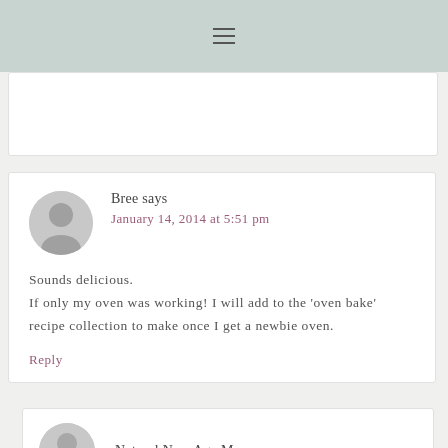≡
Bree says
January 14, 2014 at 5:51 pm

Sounds delicious.
If only my oven was working! I will add to the 'oven bake' recipe collection to make once I get a newbie oven.

Reply
Natural New Age Mum